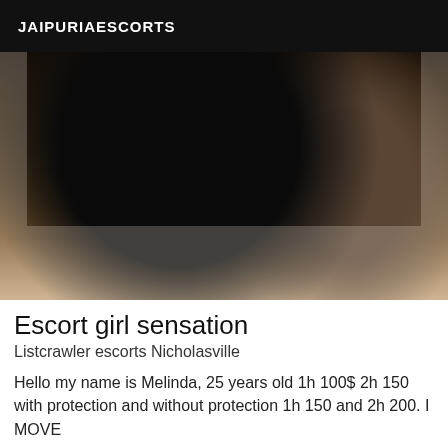JAIPURIAESCORTS
[Figure (photo): Dark silhouette photo of a person, mostly obscured, dark background with sepia tones]
Escort girl sensation
Listcrawler escorts Nicholasville
Hello my name is Melinda, 25 years old 1h 100$ 2h 150 with protection and without protection 1h 150 and 2h 200. I MOVE